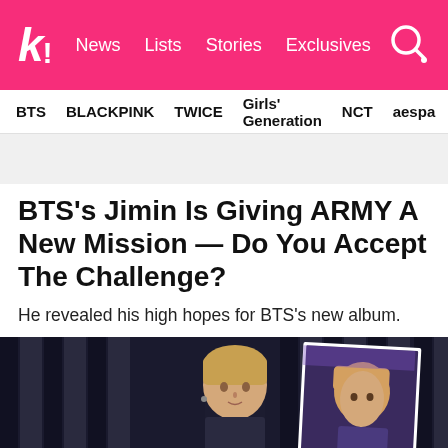k! News Lists Stories Exclusives
BTS BLACKPINK TWICE Girls' Generation NCT aespa
BTS's Jimin Is Giving ARMY A New Mission — Do You Accept The Challenge?
He revealed his high hopes for BTS's new album.
[Figure (photo): Photo of BTS Jimin at an event, with a second photo card overlaid showing another person with blonde hair, against a dark stage backdrop]